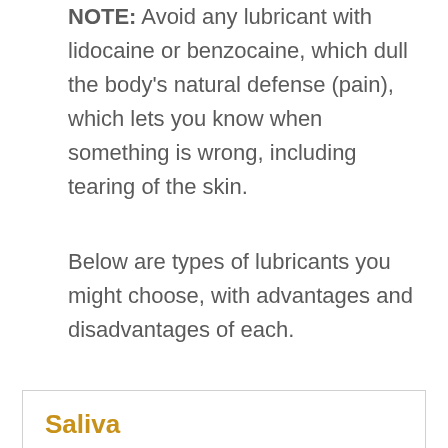NOTE: Avoid any lubricant with lidocaine or benzocaine, which dull the body's natural defense (pain), which lets you know when something is wrong, including tearing of the skin.
Below are types of lubricants you might choose, with advantages and disadvantages of each.
| Saliva |  |
| --- | --- |
| Advantages |  |